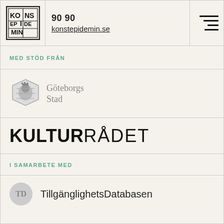[Figure (logo): Konstepidemin logo — decorative square box with letters KONS/EPIDE/MIN in a grid style]
90 90
konstepidemin.se
[Figure (other): Hamburger menu icon — three horizontal lines of varying length]
MED STÖD FRÅN
[Figure (logo): Göteborgs Stad coat of arms logo in grayscale]
Göteborgs Stad
[Figure (logo): Kulturrådet logotype — KULTUR in bold black, RÅDET in regular weight]
I SAMARBETE MED
[Figure (logo): TillgänglighetsDatabasen — circular grey logo with letters TD]
TillgänglighetsDatabasen